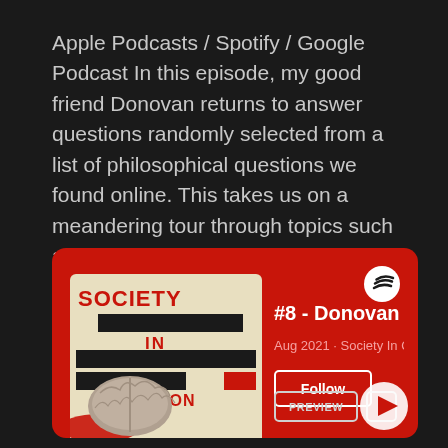Apple Podcasts / Spotify / Google Podcast In this episode, my good friend Donovan returns to answer questions randomly selected from a list of philosophical questions we found online. This takes us on a meandering tour through topics such as self-deception, self-actualization, immortality, suffering...
[Figure (screenshot): Spotify podcast card showing 'Society In Question' podcast with episode '#8 - Donovan J', dated Aug 2021, with Follow button and Preview/E buttons at bottom. Red background with podcast cover art on left.]